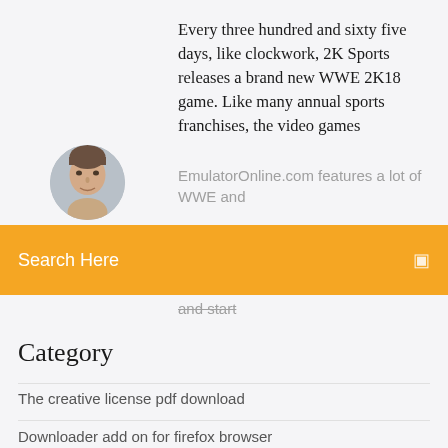Every three hundred and sixty five days, like clockwork, 2K Sports releases a brand new WWE 2K18 game. Like many annual sports franchises, the video games
[Figure (photo): Circular avatar photo of a person (man) used as a profile picture]
EmulatorOnline.com features a lot of WWE and
Search Here
and start
Category
The creative license pdf download
Downloader add on for firefox browser